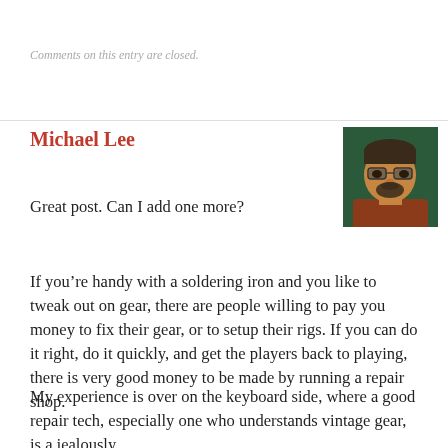Comments on this entry are closed.
Michael Lee
[Figure (photo): Headshot of a man with glasses and a beard against a green background]
Great post. Can I add one more?
If you’re handy with a soldering iron and you like to tweak out on gear, there are people willing to pay you money to fix their gear, or to setup their rigs. If you can do it right, do it quickly, and get the players back to playing, there is very good money to be made by running a repair shop.
My experience is over on the keyboard side, where a good repair tech, especially one who understands vintage gear, is a jealously